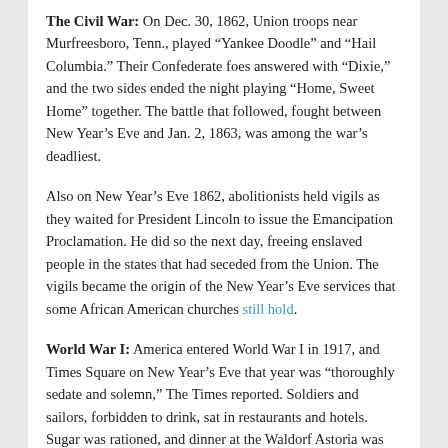The Civil War: On Dec. 30, 1862, Union troops near Murfreesboro, Tenn., played “Yankee Doodle” and “Hail Columbia.” Their Confederate foes answered with “Dixie,” and the two sides ended the night playing “Home, Sweet Home” together. The battle that followed, fought between New Year’s Eve and Jan. 2, 1863, was among the war’s deadliest.
Also on New Year’s Eve 1862, abolitionists held vigils as they waited for President Lincoln to issue the Emancipation Proclamation. He did so the next day, freeing enslaved people in the states that had seceded from the Union. The vigils became the origin of the New Year’s Eve services that some African American churches still hold.
World War I: America entered World War I in 1917, and Times Square on New Year’s Eve that year was “thoroughly sedate and solemn,” The Times reported. Soldiers and sailors, forbidden to drink, sat in restaurants and hotels. Sugar was rationed, and dinner at the Waldorf Astoria was meatless. Broadway “kelik its door in confetti”